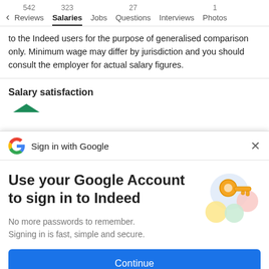542 Reviews  323 Salaries  Jobs  27 Questions  Interviews  1 Photos
to the Indeed users for the purpose of generalised comparison only. Minimum wage may differ by jurisdiction and you should consult the employer for actual salary figures.
Salary satisfaction
[Figure (screenshot): Google Sign-in overlay dialog with Google logo, title 'Sign in with Google', main heading 'Use your Google Account to sign in to Indeed', subtext 'No more passwords to remember. Signing in is fast, simple and secure.', illustration of a key with colored circles, and a blue Continue button.]
Use your Google Account to sign in to Indeed
No more passwords to remember. Signing in is fast, simple and secure.